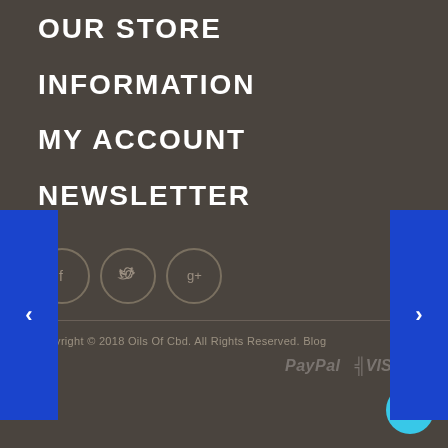OUR STORE
INFORMATION
MY ACCOUNT
NEWSLETTER
[Figure (infographic): Social media icons: Facebook (f), Twitter (bird), Google+ (g+) in circular outlines on dark background]
Copyright © 2018 Oils Of Cbd. All Rights Reserved. Blog
[Figure (infographic): Payment icons: PayPal, VISA, Mastercard symbols]
[Figure (infographic): Chat bubble icon (teal circle with speech bubble)]